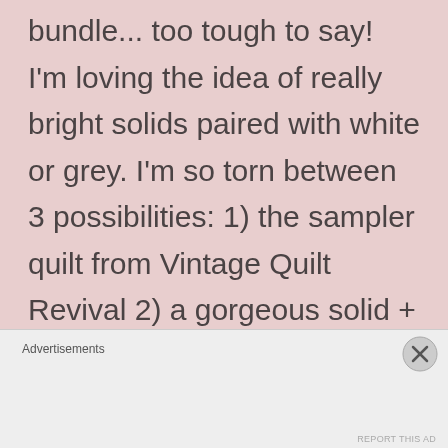bundle... too tough to say! I'm loving the idea of really bright solids paired with white or grey. I'm so torn between 3 possibilities: 1) the sampler quilt from Vintage Quilt Revival 2) a gorgeous solid + white HST quilt handquilted with coordinating thread (from Pinterest, naturally!) or 3) Elizabeth Hartman's Pointy I'm
Advertisements